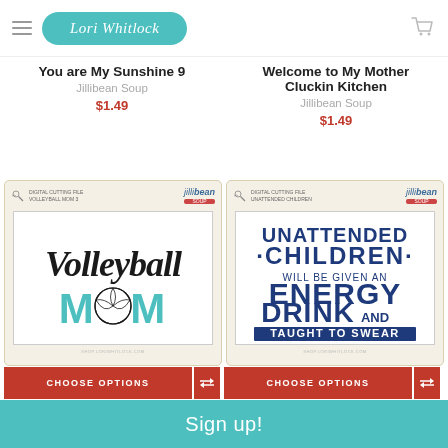Lori Whitlock
You are My Sunshine 9
Jillibean Soup
$1.49
Welcome to My Mother Cluckin Kitchen
Jillibean Soup
$1.49
[Figure (illustration): Product package showing Volleyball Mom digital cut file with stylized text, teal MOM letters and volleyball graphic]
[Figure (illustration): Product package showing Unattended Children Will Be Given An Energy Drink And Taught To Swear digital cut file in dark blue bold text]
CHOOSE OPTIONS
CHOOSE OPTIONS
Sign up!